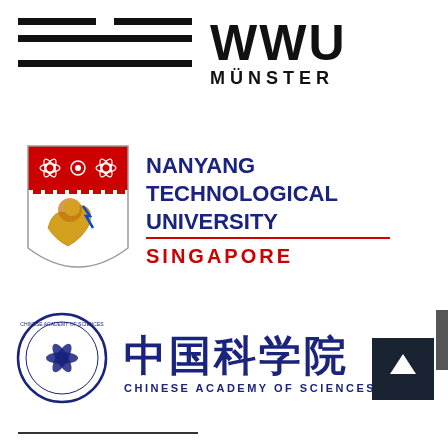[Figure (logo): WWU Münster university logo with horizontal black lines and bold WWU MÜNSTER text]
[Figure (logo): Nanyang Technological University Singapore logo with shield crest and dark blue text with red SINGAPORE label]
[Figure (logo): Chinese Academy of Sciences logo with circular badge, Chinese characters 中国科学院 and English text CHINESE ACADEMY OF SCIENCES]